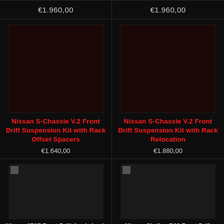€1.960,00
€1.960,00
[Figure (photo): Dark product image placeholder for Nissan S-Chassie V.2 Front Drift Suspension Kit with Rack Offset Spacers]
Nissan S-Chassie V.2 Front Drift Suspension Kit with Rack Offset Spacers
€1.640,00
[Figure (photo): Dark product image placeholder for Nissan S-Chassie V.2 Front Drift Suspension Kit with Rack Relocation]
Nissan S-Chassie V.2 Front Drift Suspension Kit with Rack Relocation
€1.880,00
[Figure (photo): Loading image for Nissan 370Z Front Drift Angle Lock Kit with Rack Relocation]
Nissan 370Z Front Drift Angle Lock Kit with Rack Relocation
[Figure (photo): Loading image for Nissan Skyline R32 Front Drift Suspension Kit without Upper Arms]
Nissan Skyline R32 Front Drift Suspension Kit without Upper Arms